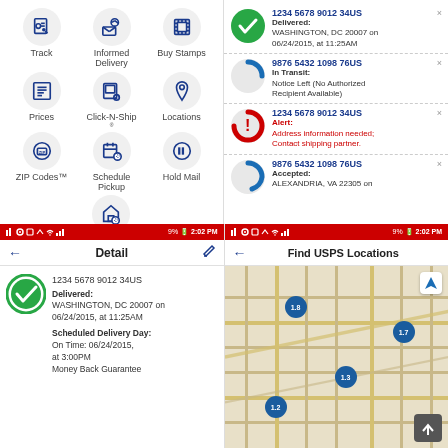[Figure (screenshot): USPS Mobile app home screen showing menu grid with Track, Informed Delivery, Buy Stamps, Prices, Click-N-Ship, Locations, ZIP Codes, Schedule Pickup, Hold Mail, Change My Address icons]
By using this USPS Mobile™ application you agree to these Terms of Use.
© 2017 USPS | Privacy Policy
[Figure (screenshot): USPS Mobile app tracking list showing 4 tracked packages with statuses: Delivered (12345678 9012 34US), In Transit Notice Left (9876 5432 1098 76US), Alert address information needed (1234 5678 9012 34US), Accepted (9876 5432 1098 76US)]
[Figure (screenshot): USPS Mobile app Detail screen showing tracking number 1234 5678 9012 34US, Delivered: WASHINGTON, DC 20007 on 06/24/2015, at 11:25AM. Scheduled Delivery Day: On Time: 06/24/2015, at 3:00PM Money Back Guarantee]
[Figure (screenshot): USPS Mobile app Find USPS Locations screen showing a map with pins labeled 1.2, 1.3, 1.7, 1.8]